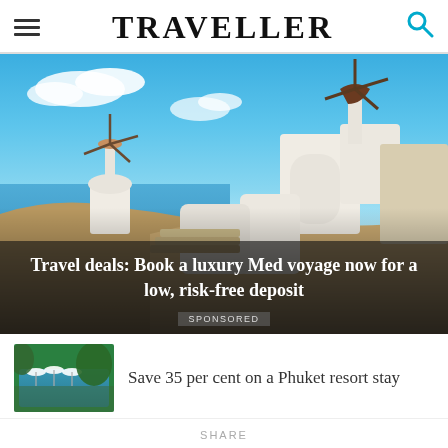TRAVELLER
[Figure (photo): Santorini, Greece — white-domed buildings and windmills against a bright blue sky and sea, with the article headline overlay: 'Travel deals: Book a luxury Med voyage now for a low, risk-free deposit' and a SPONSORED badge.]
Travel deals: Book a luxury Med voyage now for a low, risk-free deposit
SPONSORED
[Figure (photo): Thumbnail of a Phuket resort pool area with beach umbrellas and tropical greenery.]
Save 35 per cent on a Phuket resort stay
SHARE